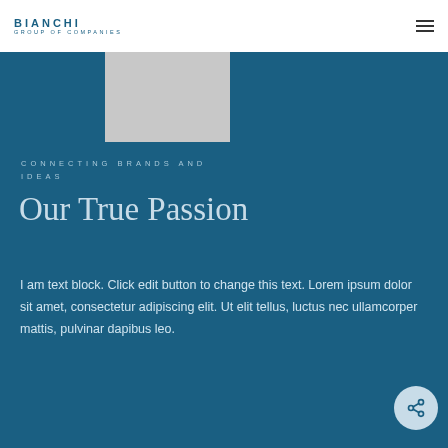BIANCHI GROUP OF COMPANIES
[Figure (photo): Gray image placeholder rectangle]
CONNECTING BRANDS AND IDEAS
Our True Passion
I am text block. Click edit button to change this text. Lorem ipsum dolor sit amet, consectetur adipiscing elit. Ut elit tellus, luctus nec ullamcorper mattis, pulvinar dapibus leo.